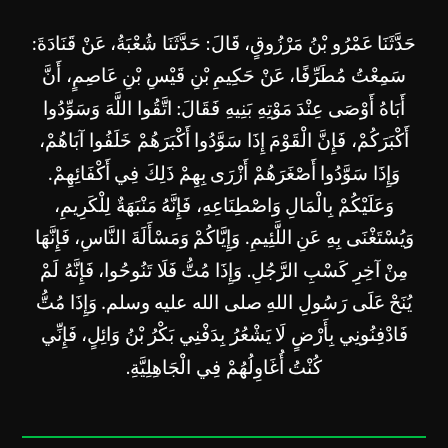حَدَّثَنَا عَمْرُو بْنُ مَرْزُوقٍ، قَالَ: حَدَّثَنَا شُعْبَةُ، عَنْ قَنَادَةَ: سَمِعْتُ مُطَرِّفًا، عَنْ حَكِيمِ بْنِ قَيْسِ بْنِ عَاصِمٍ، أَنَّ أَبَاهُ أَوْصَى عِنْدَ مَوْتِهِ بَنِيهِ فَقَالَ: اتَّقُوا اللَّهَ وَسَوِّدُوا أَكْبَرَكُمْ، فَإِنَّ الْقَوْمَ إِذَا سَوَّدُوا أَكْبَرَهُمْ خَلَفُوا آبَاهُمْ، وَإِذَا سَوَّدُوا أَصْغَرَهُمْ أَزْرَى بِهِمْ ذَلِكَ فِي أَكْفَائِهِمْ. وَعَلَيْكُمْ بِالْمَالِ وَاصْطِنَاعِهِ، فَإِنَّهُ مَنْبَهَةٌ لِلْكَرِيمِ، وَيُسْتَغْنَى بِهِ عَنِ اللَّئِيمِ. وَإِيَّاكُمْ وَمَسْأَلَةَ النَّاسِ، فَإِنَّهَا مِنْ آخِرِ كَسْبِ الرَّجُلِ. وَإِذَا مُتُّ فَلَا تَنُوحُوا، فَإِنَّهُ لَمْ يُنَحْ عَلَى رَسُولِ اللهِ صلى الله عليه وسلم. وَإِذَا مُتُّ فَادْفِنُونِي بِأَرْضٍ لَا يَشْعُرُ بِدَفْنِي بَكْرُ بْنُ وَائِلٍ، فَإِنِّي كُنْتُ أُغَاوِلُهُمْ فِي الْجَاهِلِيَّةِ.